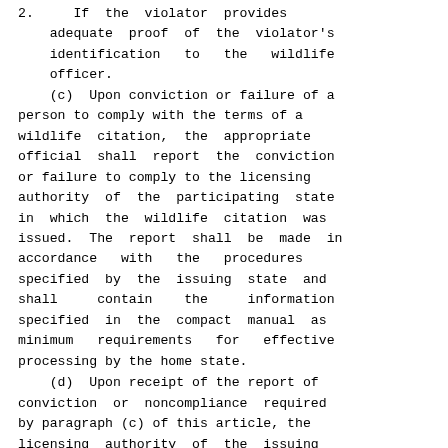2.   If  the  violator  provides adequate proof of the violator's identification  to  the  wildlife officer.
(c)  Upon conviction or failure of a person to comply with the terms of a wildlife citation, the appropriate official shall report the conviction or failure to comply to the licensing authority of the participating state in which the wildlife citation was issued. The report shall be made in accordance  with  the  procedures specified by the issuing state and shall   contain  the  information specified in the compact manual as minimum  requirements  for  effective processing by the home state.
(d)  Upon receipt of the report of conviction or noncompliance required by paragraph (c) of this article, the licensing authority of the issuing state shall transmit to the licensing authority  in  the  home  state  the information  in  a  form  and  content prescribed by the compact manual.
ARTICLE IV